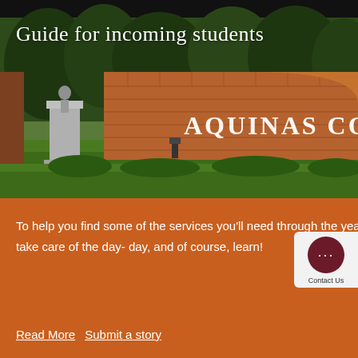[Figure (photo): Campus entrance photo showing Aquinas College brick sign with statue of a figure on a pedestal to the left, surrounded by trees and greenery. Text 'Guide for incoming students' overlaid in white at top left. 'AQUINAS COLL' text visible on the brick sign.]
Guide for incoming students
To help you find some of the services you'll need through the year, we've supplied a handy guide to involved in student activities, take care of the day- day, and of course, learn!
Read More  Submit a story